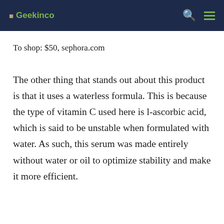🔲 Geekinco
To shop: $50, sephora.com
The other thing that stands out about this product is that it uses a waterless formula. This is because the type of vitamin C used here is l-ascorbic acid, which is said to be unstable when formulated with water. As such, this serum was made entirely without water or oil to optimize stability and make it more efficient.